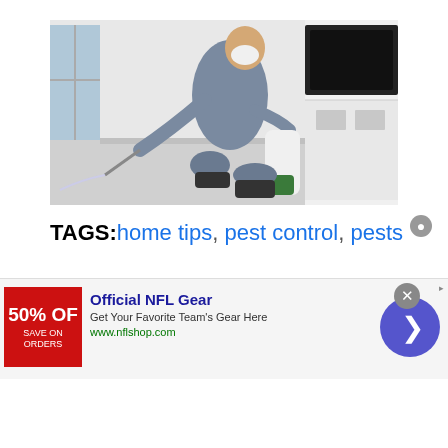[Figure (photo): A pest control worker in blue overalls and a white mask crouching near kitchen cabinets, spraying pesticide along the baseboard with a handheld wand connected to a spray canister on the floor.]
TAGS: home tips, pest control, pests
[Figure (infographic): An advertisement banner for Official NFL Gear. Shows a red box with '50% OFF' text on the left, followed by the ad text 'Official NFL Gear - Get Your Favorite Team's Gear Here - www.nflshop.com', and a blue circle arrow button on the right. A close button (X) appears in the top-right corner. An 'Ad' label appears in the top-right.]